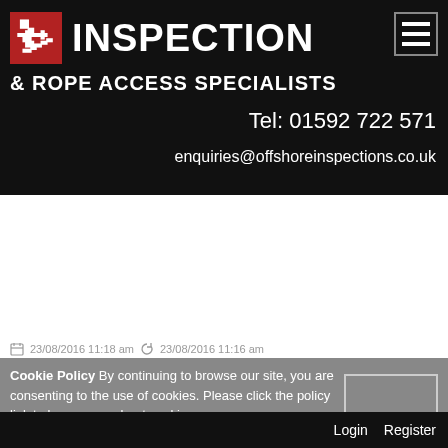[Figure (logo): Inspection & Rope Access Specialists logo with red icon of person rappelling and white text on black background]
Tel: 01592 722 571
enquiries@offshoreinspections.co.uk
23/08/2016 11:18 am   23/08/2016 11:16 am
Cookie Policy By continuing to browse our site, you are consenting to the use of cookies. Please click the policy link to learn more about cookies.
Login   Register